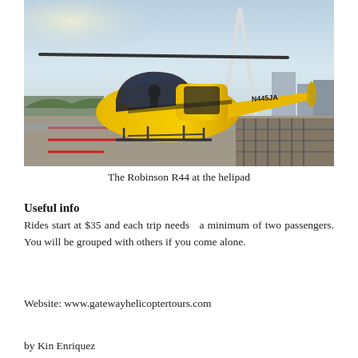[Figure (photo): Yellow Robinson R44 helicopter on a helipad with the Gateway Arch and city skyline visible in the background. The helicopter's tail number reads N445JA.]
The Robinson R44 at the helipad
Useful info
Rides start at $35 and each trip needs  a minimum of two passengers. You will be grouped with others if you come alone.
Website: www.gatewayhelicoptertours.com
by Kin Enriquez